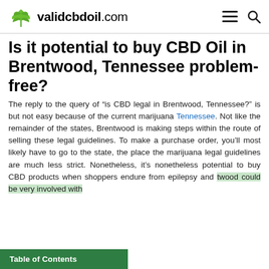validcbdoil.com
Is it potential to buy CBD Oil in Brentwood, Tennessee problem-free?
The reply to the query of “is CBD legal in Brentwood, Tennessee?” is but not easy because of the current marijuana Tennessee. Not like the remainder of the states, Brentwood is making steps within the route of selling these legal guidelines. To make a purchase order, you’ll most likely have to go to the state, the place the marijuana legal guidelines are much less strict. Nonetheless, it’s nonetheless potential to buy CBD products when shoppers endure from epilepsy and twood could be very involved with
Table of Contents